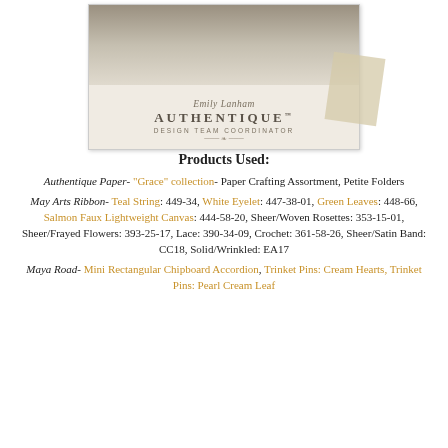[Figure (photo): Photo card showing a woman in white dress with Emily Lanham Authentique Design Team Coordinator branding, with a tan tape piece on the right side]
Products Used:
Authentique Paper- "Grace" collection- Paper Crafting Assortment, Petite Folders
May Arts Ribbon- Teal String: 449-34, White Eyelet: 447-38-01, Green Leaves: 448-66, Salmon Faux Lightweight Canvas: 444-58-20, Sheer/Woven Rosettes: 353-15-01, Sheer/Frayed Flowers: 393-25-17, Lace: 390-34-09, Crochet: 361-58-26, Sheer/Satin Band: CC18, Solid/Wrinkled: EA17
Maya Road- Mini Rectangular Chipboard Accordion, Trinket Pins: Cream Hearts, Trinket Pins: Pearl Cream Leaf